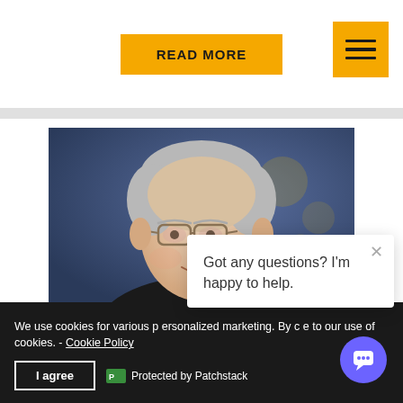READ MORE
[Figure (photo): Elderly man smiling, wearing glasses and dark suit, photographed against a blue blurred background. A small circular dark blue logo watermark is visible in the lower-center area.]
Got any questions? I'm happy to help.
We use cookies for various p... personalized marketing. By c... e to our use of cookies. - Cookie Policy
I agree
Protected by Patchstack